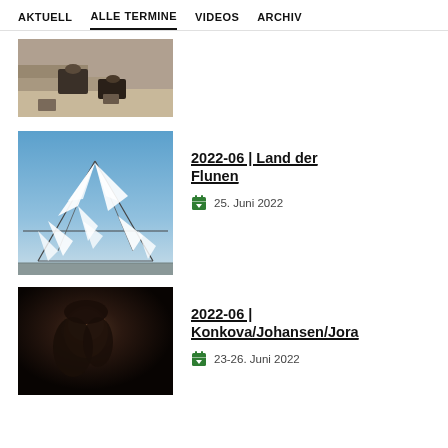AKTUELL   ALLE TERMINE   VIDEOS   ARCHIV
[Figure (photo): Photo of people sitting on outdoor stairs, cropped showing legs and feet]
[Figure (photo): Photo of a sculptural white fabric structure against a blue sky]
2022-06 | Land der Flunen
25. Juni 2022
[Figure (photo): Dark portrait photo of a person with long hair looking upward]
2022-06 | Konkova/Johansen/Jora
23-26. Juni 2022